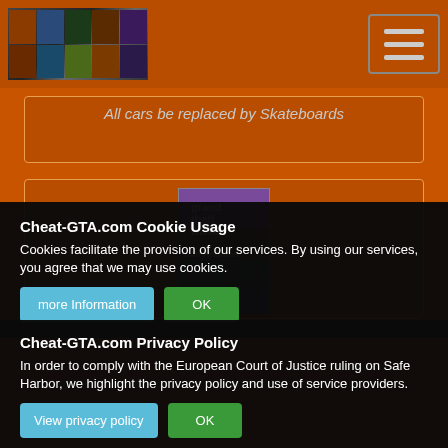Cheat-GTA.com - header with logo and menu button
All cars be replaced by Skateboards
[Figure (photo): GTA San Andreas game cover art thumbnail]
Cheat-GTA.com Cookie Usage
Cookies facilitate the provision of our services. By using our services, you agree that we may use cookies.
Cheat-GTA.com Privacy Policy
In order to comply with the European Court of Justice ruling on Safe Harbor, we highlight the privacy policy and use of service providers.